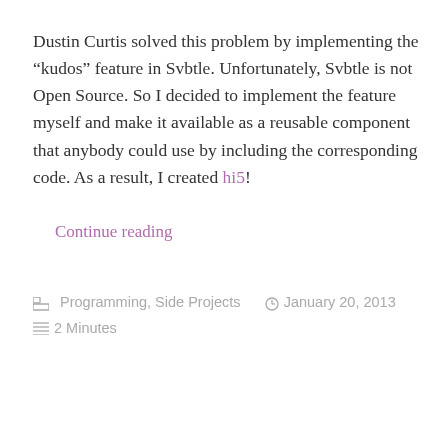Dustin Curtis solved this problem by implementing the “kudos” feature in Svbtle. Unfortunately, Svbtle is not Open Source. So I decided to implement the feature myself and make it available as a reusable component that anybody could use by including the corresponding code. As a result, I created hi5!
Continue reading
Programming, Side Projects   January 20, 2013   2 Minutes